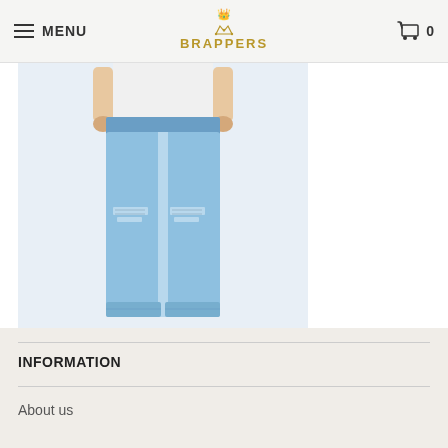MENU | BRAPPERS | Cart 0
[Figure (photo): Photo of a model wearing light wash distressed high waist straight boyfriend jeans with cuffed hems, paired with black heeled sandals. Only the lower body is visible.]
High Waist Straight Boyfriend HD Crushed
$211.91 USD
INFORMATION
About us